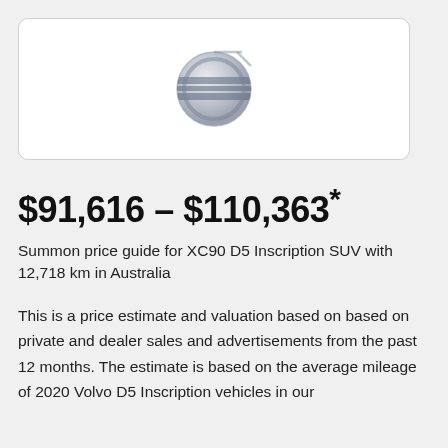[Figure (logo): Volvo circular logo, blurred/greyed out, centered in a white rounded rectangle box]
$91,616 – $110,363*
Summon price guide for XC90 D5 Inscription SUV with 12,718 km in Australia
This is a price estimate and valuation based on based on private and dealer sales and advertisements from the past 12 months. The estimate is based on the average mileage of 2020 Volvo D5 Inscription vehicles in our